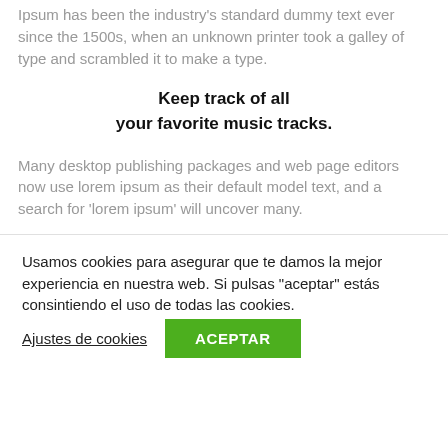Ipsum has been the industry's standard dummy text ever since the 1500s, when an unknown printer took a galley of type and scrambled it to make a type.
Keep track of all your favorite music tracks.
Many desktop publishing packages and web page editors now use lorem ipsum as their default model text, and a search for 'lorem ipsum' will uncover many.
Usamos cookies para asegurar que te damos la mejor experiencia en nuestra web. Si pulsas "aceptar" estás consintiendo el uso de todas las cookies.
Ajustes de cookies
ACEPTAR